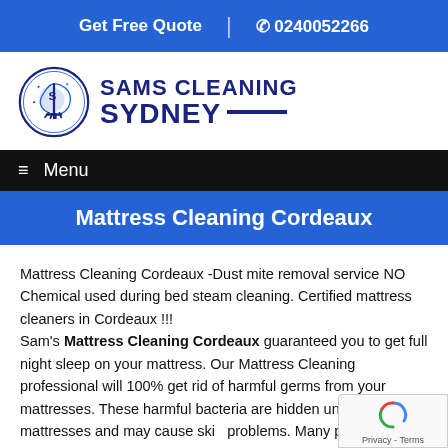Get Free Quote  |  ☎ 0240052266
[Figure (logo): Sams Cleaning Sydney logo with circular icon and bold text]
≡ Menu
Mattress Cleaning Cordeaux
Mattress Cleaning Cordeaux -Dust mite removal service NO Chemical used during bed steam cleaning. Certified mattress cleaners in Cordeaux !!!
Sam's Mattress Cleaning Cordeaux guaranteed you to get full night sleep on your mattress. Our Mattress Cleaning professional will 100% get rid of harmful germs from your mattresses. These harmful bacteria are hidden under your mattresses and may cause skin problems. Many people do not get full night sleep on their mattresses because of skin irritation and respiration problems get worst on dirty mattresses. We are professional in steam cleaning